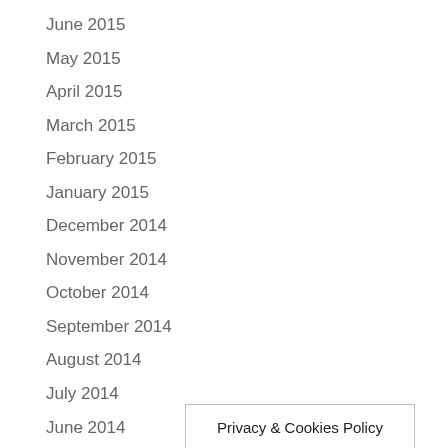June 2015
May 2015
April 2015
March 2015
February 2015
January 2015
December 2014
November 2014
October 2014
September 2014
August 2014
July 2014
June 2014
May 2014
April 2014
Privacy & Cookies Policy